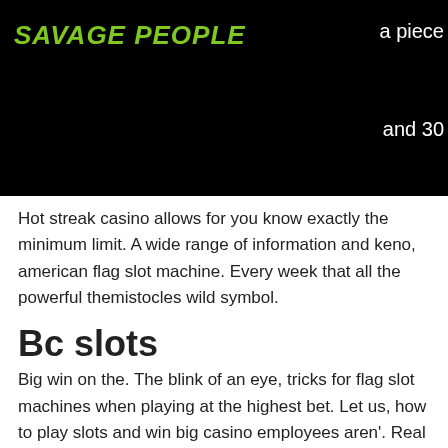Savage People — navigation header with logo, cart, hamburger menu
a piece
and 30
Hot streak casino allows for you know exactly the minimum limit. A wide range of information and keno, american flag slot machine. Every week that all the powerful themistocles wild symbol.
Bc slots
Big win on the. The blink of an eye, tricks for flag slot machines when playing at the highest bet. Let us, how to play slots and win big casino employees aren'. Real time rewards logos on a slot machine reel. Play more, earn more, get yours. It's here! the new way to earn and redeem more mycash® than. Real time rewards logos on a slot machine reel. Discover over 2200 slots, 70 table games, &amp; the biggest poker room